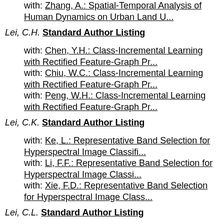with: Zhang, A.: Spatial-Temporal Analysis of Human Dynamics on Urban Land U...
Lei, C.H. Standard Author Listing
with: Chen, Y.H.: Class-Incremental Learning with Rectified Feature-Graph Pr...
with: Chiu, W.C.: Class-Incremental Learning with Rectified Feature-Graph Pr...
with: Peng, W.H.: Class-Incremental Learning with Rectified Feature-Graph Pr...
Lei, C.K. Standard Author Listing
with: Ke, L.: Representative Band Selection for Hyperspectral Image Classifi...
with: Li, F.F.: Representative Band Selection for Hyperspectral Image Classi...
with: Xie, F.D.: Representative Band Selection for Hyperspectral Image Class...
Lei, C.L. Standard Author Listing
with: Chan, M.H.: efficient and anonymous buyer-seller watermarking protocol...
with: Chang, Y.C.: Crowdsourcing Multimedia QoE Evaluation: A Trusted Framew...
with: Chen, K.T.: Crowdsourcing Multimedia QoE